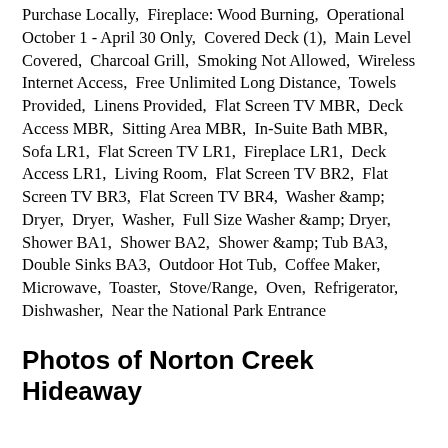Purchase Locally,  Fireplace: Wood Burning,  Operational October 1 - April 30 Only,  Covered Deck (1),  Main Level Covered,  Charcoal Grill,  Smoking Not Allowed,  Wireless Internet Access,  Free Unlimited Long Distance,  Towels Provided,  Linens Provided,  Flat Screen TV MBR,  Deck Access MBR,  Sitting Area MBR,  In-Suite Bath MBR,  Sofa LR1,  Flat Screen TV LR1,  Fireplace LR1,  Deck Access LR1,  Living Room,  Flat Screen TV BR2,  Flat Screen TV BR3,  Flat Screen TV BR4,  Washer &amp; Dryer,  Dryer,  Washer,  Full Size Washer &amp; Dryer,  Shower BA1,  Shower BA2,  Shower &amp; Tub BA3,  Double Sinks BA3,  Outdoor Hot Tub,  Coffee Maker,  Microwave,  Toaster,  Stove/Range,  Oven,  Refrigerator,  Dishwasher,  Near the National Park Entrance
Photos of Norton Creek Hideaway